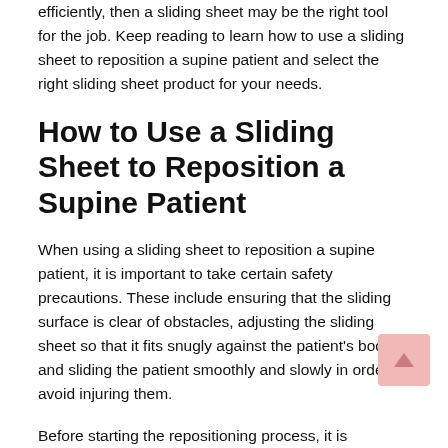efficiently, then a sliding sheet may be the right tool for the job. Keep reading to learn how to use a sliding sheet to reposition a supine patient and select the right sliding sheet product for your needs.
How to Use a Sliding Sheet to Reposition a Supine Patient
When using a sliding sheet to reposition a supine patient, it is important to take certain safety precautions. These include ensuring that the sliding surface is clear of obstacles, adjusting the sliding sheet so that it fits snugly against the patient's body, and sliding the patient smoothly and slowly in order to avoid injuring them.
Before starting the repositioning process, it is important to ensure that the sliding surface is clear of